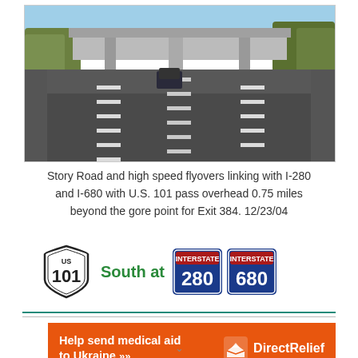[Figure (photo): Highway photo showing a multi-lane freeway with overpass structures (Story Road flyovers linking I-280 and I-680 with U.S. 101), taken from driver's perspective, with an overpass visible ahead, trees on both sides, and another vehicle in the distance.]
Story Road and high speed flyovers linking with I-280 and I-680 with U.S. 101 pass overhead 0.75 miles beyond the gore point for Exit 384. 12/23/04
[Figure (infographic): Road sign graphic showing US 101 shield, text 'South at', Interstate 280 badge, and Interstate 680 badge]
[Figure (infographic): Advertisement banner: 'Help send medical aid to Ukraine >>' with Direct Relief logo]